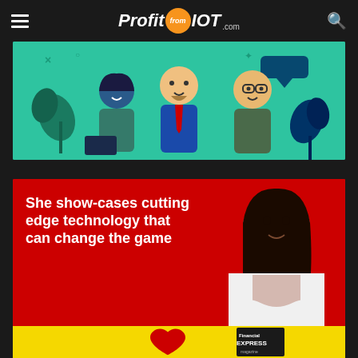ProfitfromIOT.com
[Figure (illustration): Green background with illustrated cartoon characters: a woman, a man in a suit, and a bearded man with glasses, representing a team]
[Figure (infographic): Red banner ad with white bold text 'She show-cases cutting edge technology that can change the game' alongside a photo of a young woman in business attire]
[Figure (infographic): Yellow banner with a red heart graphic and what appears to be a Financial Express magazine cover]